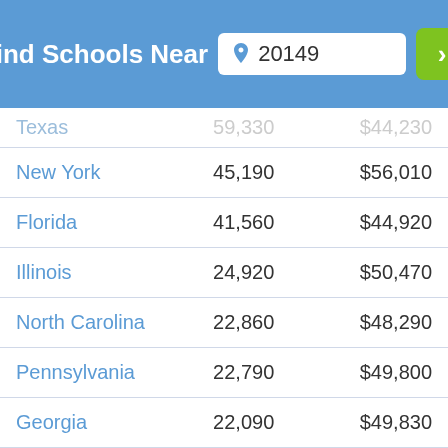Find Schools Near 20149
| State | Employed | Avg Salary |
| --- | --- | --- |
| Texas (partial) | ... | $... |
| New York | 45,190 | $56,010 |
| Florida | 41,560 | $44,920 |
| Illinois | 24,920 | $50,470 |
| North Carolina | 22,860 | $48,290 |
| Pennsylvania | 22,790 | $49,800 |
| Georgia | 22,090 | $49,830 |
| Ohio | 20,780 | $47,140 |
| Virginia | 19,880 | $55,000 |